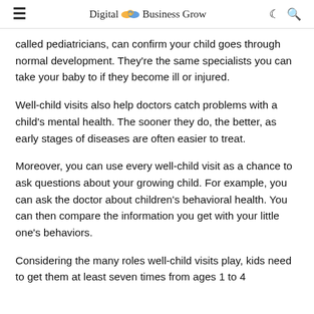Digital Business Grow
called pediatricians, can confirm your child goes through normal development. They're the same specialists you can take your baby to if they become ill or injured.
Well-child visits also help doctors catch problems with a child's mental health. The sooner they do, the better, as early stages of diseases are often easier to treat.
Moreover, you can use every well-child visit as a chance to ask questions about your growing child. For example, you can ask the doctor about children's behavioral health. You can then compare the information you get with your little one's behaviors.
Considering the many roles well-child visits play, kids need to get them at least seven times from ages 1 to 4